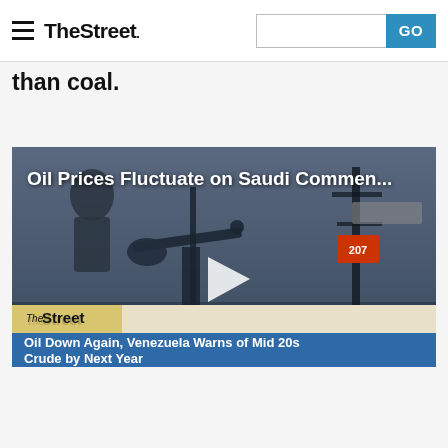TheStreet — search bar with GO button
than coal.
[Figure (screenshot): Video thumbnail showing an oil pump jack at dusk with the title 'Oil Prices Fluctuate on Saudi Commen...' overlaid at the top, a play button in the center, TheStreet logo in the lower-left corner, and a blue news ticker bar reading 'Oil Down Again, Venezuela Warns of Mid 20s Crude by Next Year']